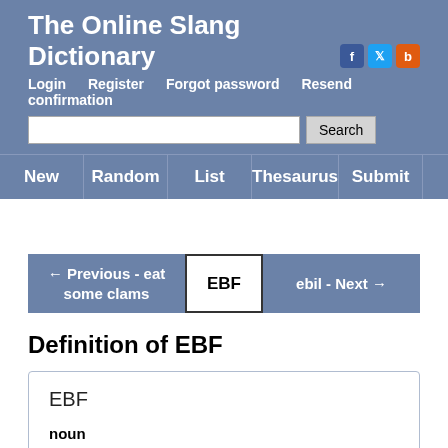The Online Slang Dictionary
Login   Register   Forgot password   Resend confirmation
New | Random | List | Thesaurus | Submit
← Previous - eat some clams   EBF   ebil - Next →
Definition of EBF
EBF

noun

a far away and inconvenient place. Acronym for "East...